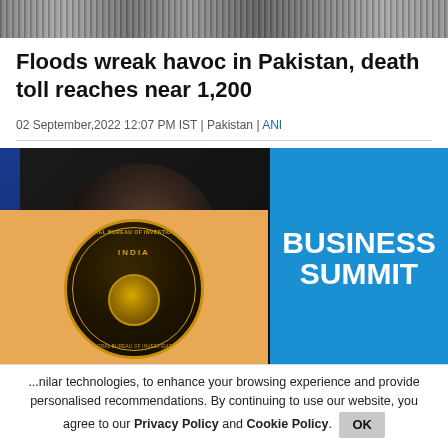[Figure (photo): Top banner image showing flood or crowd scene, grayscale/color]
Floods wreak havoc in Pakistan, death toll reaches near 1,200
02 September,2022 12:07 PM IST | Pakistan | ANI
[Figure (photo): Main image: man speaking at a Business Summit event, with a CBI (Central Bureau of Investigation) India badge overlay popup]
...nilar technologies, to enhance your browsing experience and provide personalised recommendations. By continuing to use our website, you agree to our Privacy Policy and Cookie Policy.